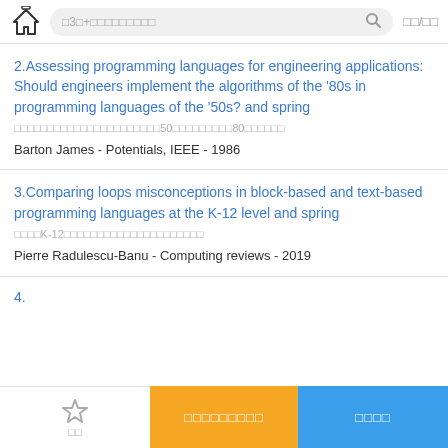□3□+□□□□□□□□□  □□/□□
2.Assessing programming languages for engineering applications: Should engineers implement the algorithms of the '80s in programming languages of the '50s? and spring
□□□□□□□□□□□□□□□□□□□□□□50□□□□□□□□□80□□□□□□
Barton James - Potentials, IEEE - 1986
3.Comparing loops misconceptions in block-based and text-based programming languages at the K-12 level and spring
□□□□K-12□□□□□□□□□□□□□□□□□□□□□
Pierre Radulescu-Banu - Computing reviews - 2019
□□  □□□□□□□□□  □□□□